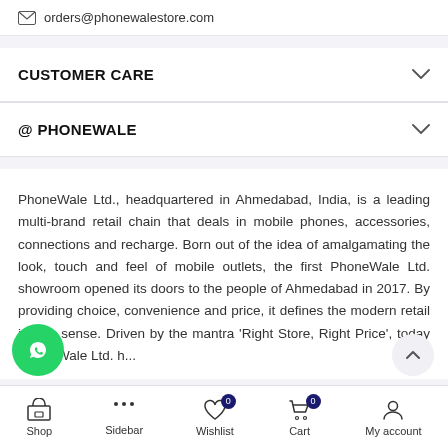orders@phonewalestore.com
CUSTOMER CARE
@ PHONEWALE
PhoneWale Ltd., headquartered in Ahmedabad, India, is a leading multi-brand retail chain that deals in mobile phones, accessories, connections and recharge. Born out of the idea of amalgamating the look, touch and feel of mobile outlets, the first PhoneWale Ltd. showroom opened its doors to the people of Ahmedabad in 2017. By providing choice, convenience and price, it defines the modern retail in true sense. Driven by the mantra ‘Right Store, Right Price’, today PhoneWale Ltd. h...
Shop  Sidebar  Wishlist 0  Cart 0  My account